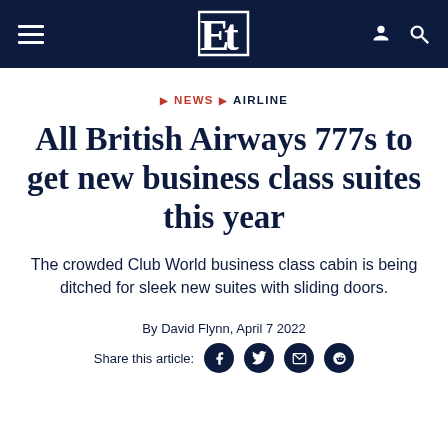ET (Executive Traveller) navigation header
NEWS › AIRLINE
All British Airways 777s to get new business class suites this year
The crowded Club World business class cabin is being ditched for sleek new suites with sliding doors.
By David Flynn, April 7 2022
Share this article: